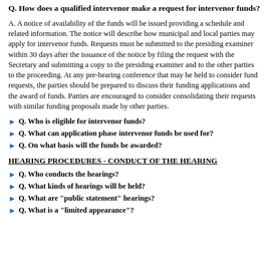Q. How does a qualified intervenor make a request for intervenor funds?
A. A notice of availability of the funds will be issued providing a schedule and related information. The notice will describe how municipal and local parties may apply for intervenor funds. Requests must be submitted to the presiding examiner within 30 days after the issuance of the notice by filing the request with the Secretary and submitting a copy to the presiding examiner and to the other parties to the proceeding. At any pre-hearing conference that may be held to consider fund requests, the parties should be prepared to discuss their funding applications and the award of funds. Parties are encouraged to consider consolidating their requests with similar funding proposals made by other parties.
Q. Who is eligible for intervenor funds?
Q. What can application phase intervenor funds be used for?
Q. On what basis will the funds be awarded?
HEARING PROCEDURES - CONDUCT OF THE HEARING
Q. Who conducts the hearings?
Q. What kinds of hearings will be held?
Q. What are "public statement" hearings?
Q. What is a "limited appearance"?